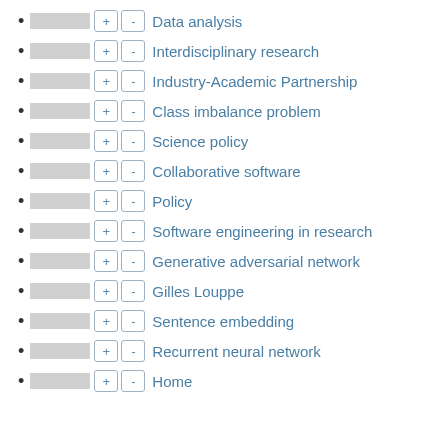Data analysis
Interdisciplinary research
Industry-Academic Partnership
Class imbalance problem
Science policy
Collaborative software
Policy
Software engineering in research
Generative adversarial network
Gilles Louppe
Sentence embedding
Recurrent neural network
Home